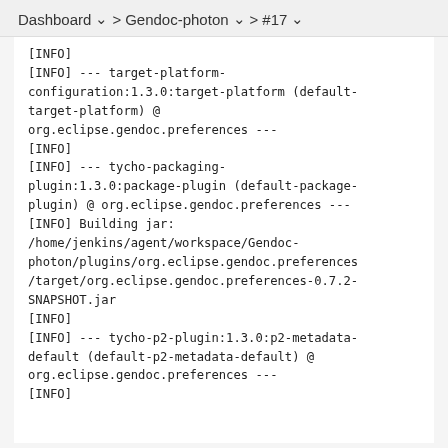Dashboard  >  Gendoc-photon  >  #17
[INFO]
[INFO] --- target-platform-configuration:1.3.0:target-platform (default-target-platform) @ org.eclipse.gendoc.preferences ---
[INFO]
[INFO] --- tycho-packaging-plugin:1.3.0:package-plugin (default-package-plugin) @ org.eclipse.gendoc.preferences ---
[INFO] Building jar: /home/jenkins/agent/workspace/Gendoc-photon/plugins/org.eclipse.gendoc.preferences/target/org.eclipse.gendoc.preferences-0.7.2-SNAPSHOT.jar
[INFO]
[INFO] --- tycho-p2-plugin:1.3.0:p2-metadata-default (default-p2-metadata-default) @ org.eclipse.gendoc.preferences ---
[INFO]